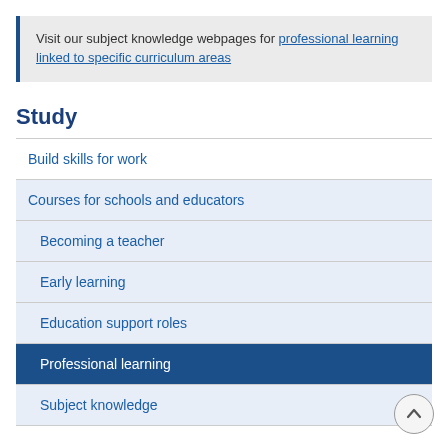Visit our subject knowledge webpages for professional learning linked to specific curriculum areas
Study
Build skills for work
Courses for schools and educators
Becoming a teacher
Early learning
Education support roles
Professional learning
Subject knowledge